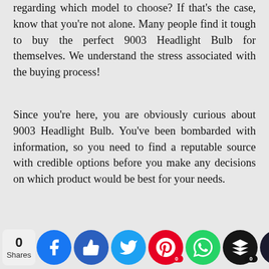regarding which model to choose? If that's the case, know that you're not alone. Many people find it tough to buy the perfect 9003 Headlight Bulb for themselves. We understand the stress associated with the buying process!
Since you're here, you are obviously curious about 9003 Headlight Bulb. You've been bombarded with information, so you need to find a reputable source with credible options before you make any decisions on which product would be best for your needs.
There are many sources that'll provide you with that information you...
[Figure (other): Social sharing bar with share count (0 Shares) and icons for Facebook, Like/Thumbs-up, Twitter, Pinterest, WhatsApp, Buffer, and a crown/bookmark icon.]